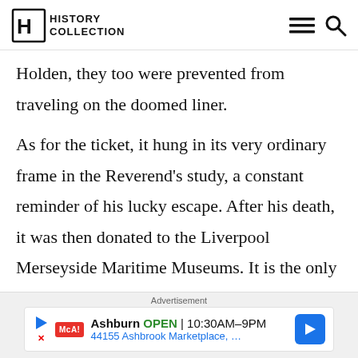History Collection
Holden, they too were prevented from traveling on the doomed liner.
As for the ticket, it hung in its very ordinary frame in the Reverend’s study, a constant reminder of his lucky escape. After his death, it was then donated to the Liverpool Merseyside Maritime Museums. It is the only known surviving first-class ticket from Titanic and until 2003 was
Advertisement
Ashburn OPEN 10:30AM–9PM 44155 Ashbrook Marketplace, …